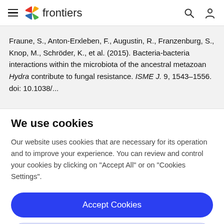frontiers
Fraune, S., Anton-Erxleben, F., Augustin, R., Franzenburg, S., Knop, M., Schröder, K., et al. (2015). Bacteria-bacteria interactions within the microbiota of the ancestral metazoan Hydra contribute to fungal resistance. ISME J. 9, 1543–1556. doi: 10.1038/...
We use cookies
Our website uses cookies that are necessary for its operation and to improve your experience. You can review and control your cookies by clicking on "Accept All" or on "Cookies Settings".
Accept Cookies
Cookies Settings